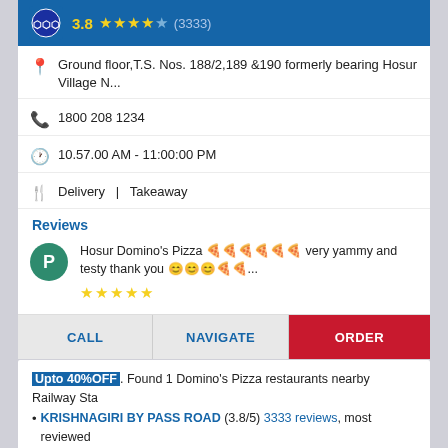[Figure (screenshot): Domino's Pizza location card showing blue header with logo, 3.8 star rating (3333 reviews), address, phone, hours, service types, a review, and action buttons (CALL, NAVIGATE, ORDER)]
Ground floor,T.S. Nos. 188/2,189 &190 formerly bearing Hosur Village N...
1800 208 1234
10.57.00 AM - 11:00:00 PM
Delivery  |  Takeaway
Reviews
Hosur Domino's Pizza 🍕🍕🍕🍕🍕🍕 very yammy and testy thank you 😊😊😊...
Upto 40%OFF. Found 1 Domino's Pizza restaurants nearby Railway Sta
• KRISHNAGIRI BY PASS ROAD (3.8/5) 3333 reviews, most reviewed Domino's restaurants in Railway Station Main Road Road - 635109 se
If you're looking for food near me in Railway Station Main Road Road